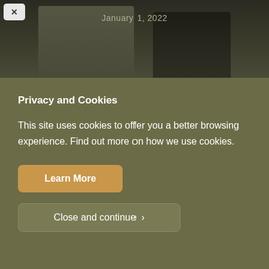[Figure (photo): Dark background photo showing two figures in grey/dark clothing, with a date overlay 'January 1, 2022' and a close (X) button in the top left corner.]
Privacy and Cookies
This site uses cookies to offer you a better browsing experience. Find out more on how we use cookies.
Learn More
Close and continue >